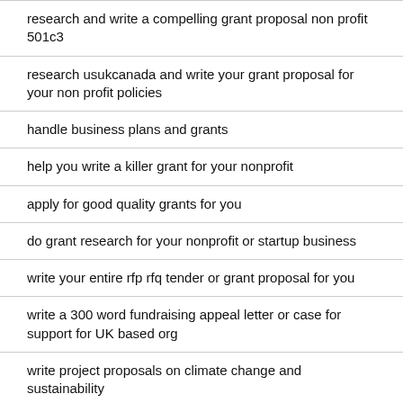research and write a compelling grant proposal non profit 501c3
research usukcanada and write your grant proposal for your non profit policies
handle business plans and grants
help you write a killer grant for your nonprofit
apply for good quality grants for you
do grant research for your nonprofit or startup business
write your entire rfp rfq tender or grant proposal for you
write a 300 word fundraising appeal letter or case for support for UK based org
write project proposals on climate change and sustainability